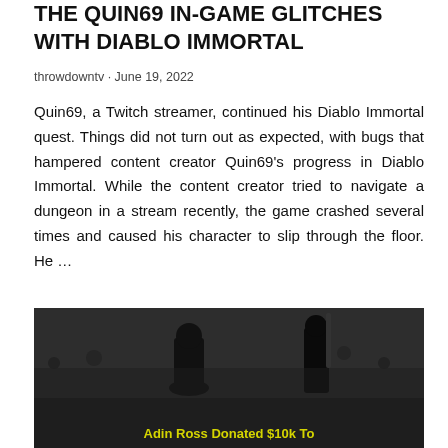THE QUIN69 IN-GAME GLITCHES WITH DIABLO IMMORTAL
throwdowntv · June 19, 2022
Quin69, a Twitch streamer, continued his Diablo Immortal quest. Things did not turn out as expected, with bugs that hampered content creator Quin69's progress in Diablo Immortal. While the content creator tried to navigate a dungeon in a stream recently, the game crashed several times and caused his character to slip through the floor. He …
[Figure (photo): Dark background image showing silhouettes of people, with yellow text overlay reading 'Adin Ross Donated $10k To...' partially visible at the bottom]